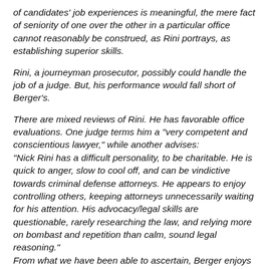of candidates' job experiences is meaningful, the mere fact of seniority of one over the other in a particular office cannot reasonably be construed, as Rini portrays, as establishing superior skills.
Rini, a journeyman prosecutor, possibly could handle the job of a judge. But, his performance would fall short of Berger's.
There are mixed reviews of Rini. He has favorable office evaluations. One judge terms him a "very competent and conscientious lawyer," while another advises: "Nick Rini has a difficult personality, to be charitable. He is quick to anger, slow to cool off, and can be vindictive towards criminal defense attorneys. He appears to enjoy controlling others, keeping attorneys unnecessarily waiting for his attention. His advocacy/legal skills are questionable, rarely researching the law, and relying more on bombast and repetition than calm, sound legal reasoning." From what we have been able to ascertain, Berger enjoys respect among deputies in the Public Defender's Office, being seen as fair, courteous, reasonable and ethical, while Rini is viewed as dishonest, unpleasant, lazy, and hot-